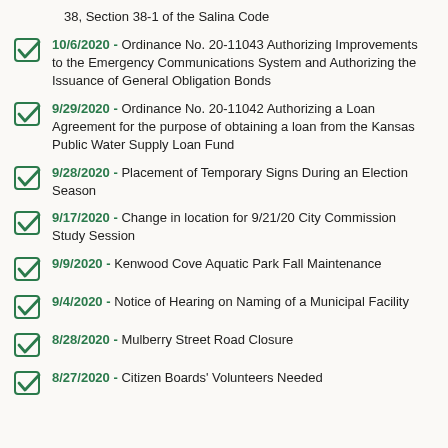38, Section 38-1 of the Salina Code
10/6/2020 - Ordinance No. 20-11043 Authorizing Improvements to the Emergency Communications System and Authorizing the Issuance of General Obligation Bonds
9/29/2020 - Ordinance No. 20-11042 Authorizing a Loan Agreement for the purpose of obtaining a loan from the Kansas Public Water Supply Loan Fund
9/28/2020 - Placement of Temporary Signs During an Election Season
9/17/2020 - Change in location for 9/21/20 City Commission Study Session
9/9/2020 - Kenwood Cove Aquatic Park Fall Maintenance
9/4/2020 - Notice of Hearing on Naming of a Municipal Facility
8/28/2020 - Mulberry Street Road Closure
8/27/2020 - Citizen Boards' Volunteers Needed